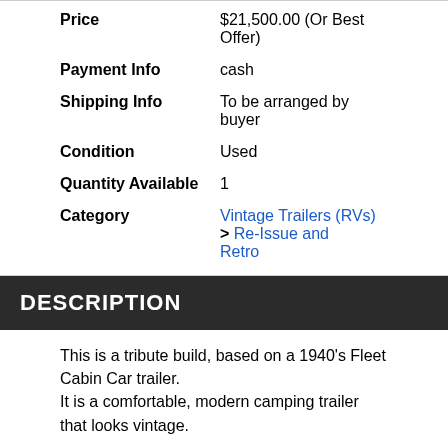Price  $21,500.00 (Or Best Offer)
Payment Info  cash
Shipping Info  To be arranged by buyer
Condition  Used
Quantity Available  1
Category  Vintage Trailers (RVs) > Re-Issue and Retro
DESCRIPTION
This is a tribute build, based on a 1940's Fleet Cabin Car trailer.
It is a comfortable, modern camping trailer that looks vintage.
Great to pull behind your vintage car for tours, or hook it up to your modern car and go off on a grand